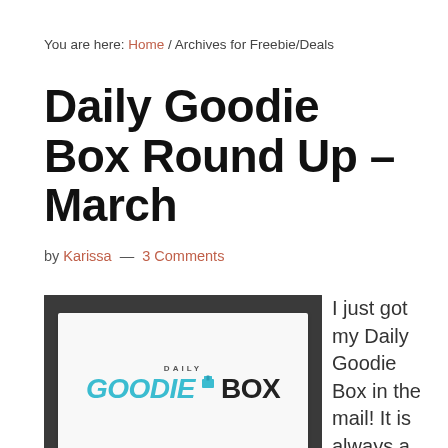You are here: Home / Archives for Freebie/Deals
Daily Goodie Box Round Up – March
by Karissa — 3 Comments
[Figure (photo): White Daily Goodie Box product box on a dark surface, showing the Daily Goodie Box logo in teal and black text]
I just got my Daily Goodie Box in the mail! It is always a joy when I see in the